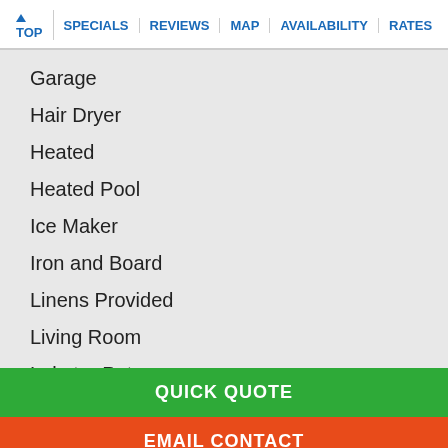↑ TOP | SPECIALS | REVIEWS | MAP | AVAILABILITY | RATES
Garage
Hair Dryer
Heated
Heated Pool
Ice Maker
Iron and Board
Linens Provided
Living Room
Lobster Pot
Microwave
Mini Refrigerator
Outdoor Furniture
Outdoor Grill
QUICK QUOTE
EMAIL CONTACT
CALL CONTACT